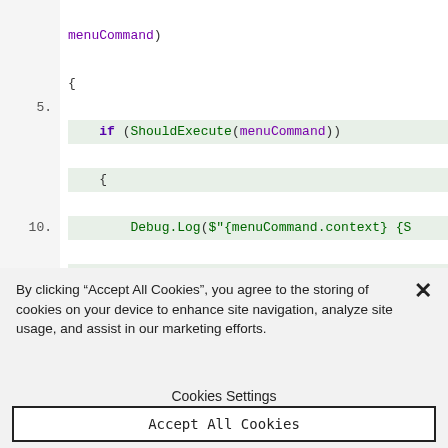[Figure (screenshot): Code editor screenshot showing C# code with syntax highlighting. Lines 1-10 visible (partial). Line 5 highlighted. Code shows: menuCommand) { if (ShouldExecute(menuCommand)) { Debug.Log($"{menuCommand.context} {Selection.activeObject}"); // ... do something } }]
By clicking “Accept All Cookies”, you agree to the storing of cookies on your device to enhance site navigation, analyze site usage, and assist in our marketing efforts.
Cookies Settings
Accept All Cookies